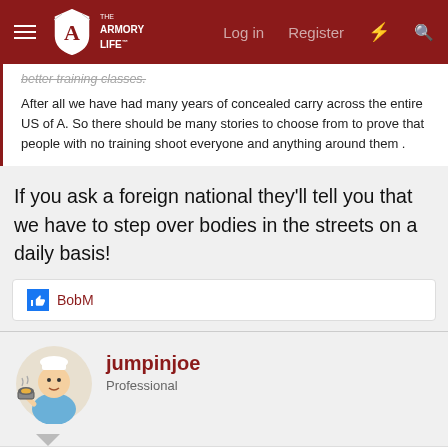The Armory Life — Log in  Register
...better training classes.

After all we have had many years of concealed carry across the entire US of A. So there should be many stories to choose from to prove that people with no training shoot everyone and anything around them .
If you ask a foreign national they'll tell you that we have to step over bodies in the streets on a daily basis!
👍 BobM
jumpinjoe
Professional
Nov 5, 2021  #148
straydoglogic said: